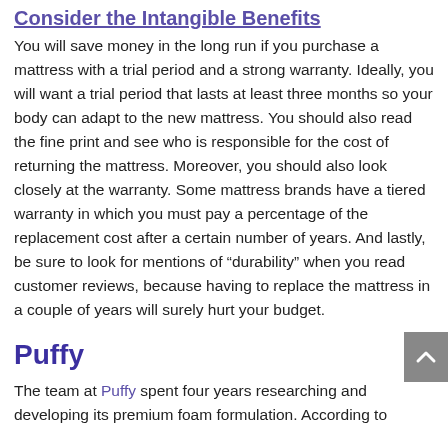Consider the Intangible Benefits
You will save money in the long run if you purchase a mattress with a trial period and a strong warranty. Ideally, you will want a trial period that lasts at least three months so your body can adapt to the new mattress. You should also read the fine print and see who is responsible for the cost of returning the mattress. Moreover, you should also look closely at the warranty. Some mattress brands have a tiered warranty in which you must pay a percentage of the replacement cost after a certain number of years. And lastly, be sure to look for mentions of “durability” when you read customer reviews, because having to replace the mattress in a couple of years will surely hurt your budget.
Puffy
The team at Puffy spent four years researching and developing its premium foam formulation. According to